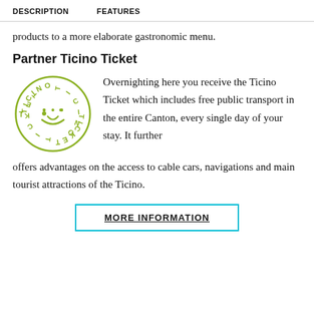DESCRIPTION   FEATURES
products to a more elaborate gastronomic menu.
Partner Ticino Ticket
[Figure (logo): Ticino Ticket circular logo in olive green with smiley face and text 'TICINO TICKET' arranged in a circle]
Overnighting here you receive the Ticino Ticket which includes free public transport in the entire Canton, every single day of your stay. It further offers advantages on the access to cable cars, navigations and main tourist attractions of the Ticino.
MORE INFORMATION